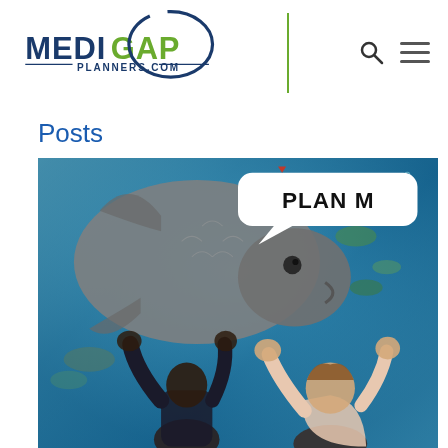[Figure (logo): MediGap Planners.com logo with blue and green text and circular swoosh design]
Posts
[Figure (photo): Aquarium photo showing a large fish with a speech bubble saying 'Plan M', and two children with hands raised against the aquarium glass]